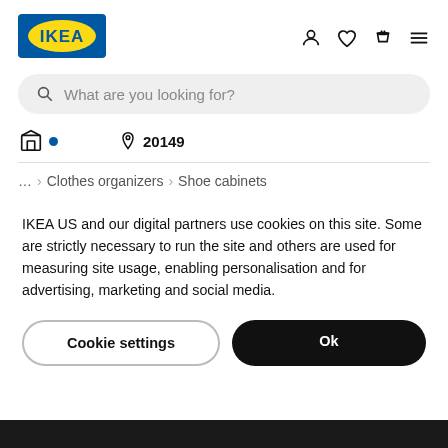[Figure (logo): IKEA logo — blue rectangle with yellow oval and white IKEA text]
What are you looking for?
20149
... › Clothes organizers › Shoe cabinets
IKEA US and our digital partners use cookies on this site. Some are strictly necessary to run the site and others are used for measuring site usage, enabling personalisation and for advertising, marketing and social media.
Cookie settings
Ok